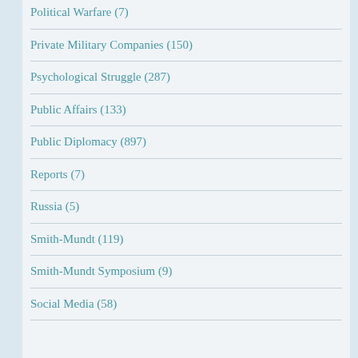Political Warfare (7)
Private Military Companies (150)
Psychological Struggle (287)
Public Affairs (133)
Public Diplomacy (897)
Reports (7)
Russia (5)
Smith-Mundt (119)
Smith-Mundt Symposium (9)
Social Media (58)